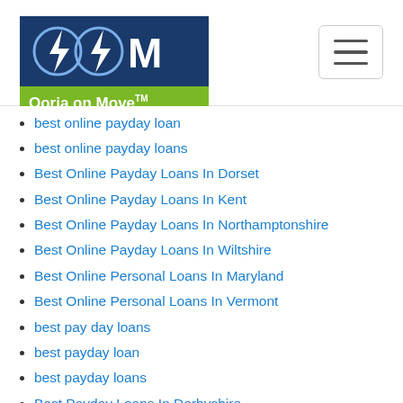Oorja on Move logo and navigation
best online payday loan
best online payday loans
Best Online Payday Loans In Dorset
Best Online Payday Loans In Kent
Best Online Payday Loans In Northamptonshire
Best Online Payday Loans In Wiltshire
Best Online Personal Loans In Maryland
Best Online Personal Loans In Vermont
best pay day loans
best payday loan
best payday loans
Best Payday Loans In Derbyshire
Best Payday Loans In Somerset
Best Payday Loans In West Yorkshire
best payday loans online
best paydayloan